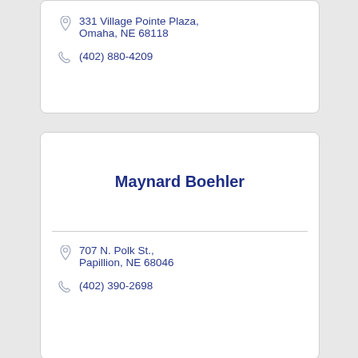331 Village Pointe Plaza, Omaha, NE 68118
(402) 880-4209
Maynard Boehler
707 N. Polk St., Papillion, NE 68046
(402) 390-2698